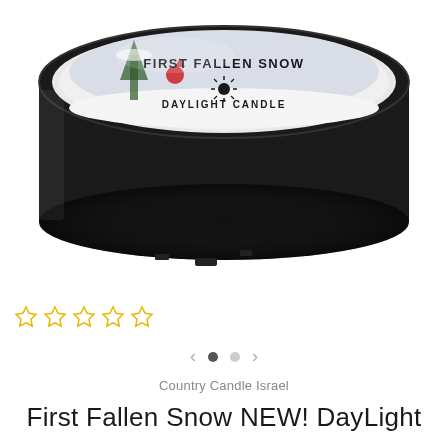[Figure (photo): A black round tin candle container with a label on top showing a winter scene with a cardinal bird and snow-covered trees. The label reads 'FIRST FALLEN SNOW' and 'DAYLIGHT CANDLE' with a sun logo. The tin is photographed from slightly above on a white background.]
[Figure (other): Five empty star rating icons in yellow/gold outline, indicating 0 out of 5 stars rating.]
[Figure (other): Image carousel navigation with left arrow, filled circle dot, empty circle dot, and right arrow.]
Country Candle Israel
First Fallen Snow NEW! DayLight